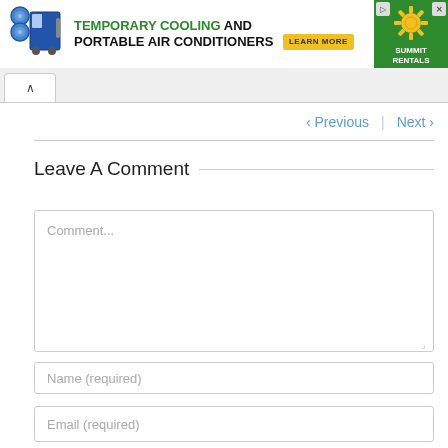[Figure (screenshot): Advertisement banner for temporary cooling and portable air conditioners from Summit Rentals, with a 'Learn More' button and a green Summit Rentals logo on the right.]
< Previous   Next >
Leave A Comment
Comment...
Name (required)
Email (required)